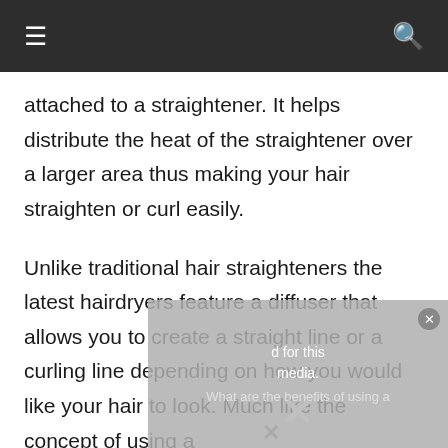≡  🔍
attached to a straightener. It helps distribute the heat of the straightener over a larger area thus making your hair straighten or curl easily.
Unlike traditional hair straighteners the latest hairdryers feature a diffuser that allows you to create a straight line or a curling line depending on how you would like your hair to look. Much like the concept of using a
[Figure (other): Overlay dialog box with close button, text about media, and a watermark X symbol]